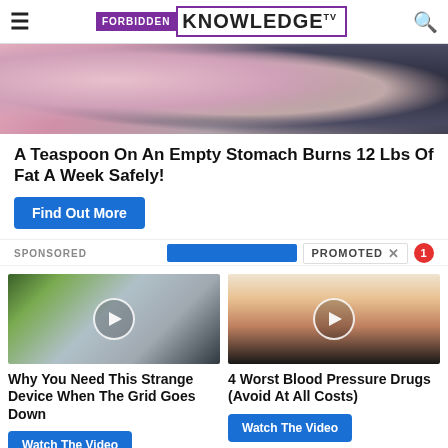FORBIDDEN KNOWLEDGE TV
[Figure (photo): Close-up photograph of pink fabric/clothing, appears to be a plus-sized person]
A Teaspoon On An Empty Stomach Burns 12 Lbs Of Fat A Week Safely!
Find Out More
SPONSORED
Promoted X
[Figure (photo): Man in yellow safety vest directing traffic near cars]
Why You Need This Strange Device When The Grid Goes Down
Watch The Video
[Figure (photo): Close-up of a mouth with tongue out holding a blue pill/tablet]
4 Worst Blood Pressure Drugs (Avoid At All Costs)
Watch The Video